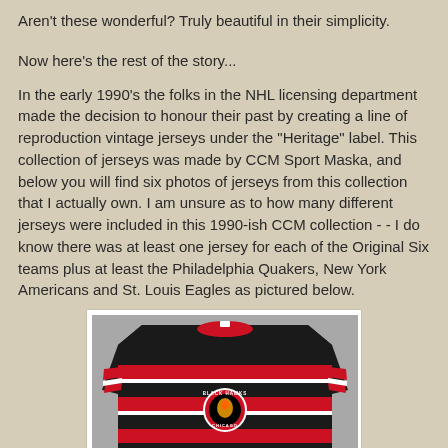Aren't these wonderful? Truly beautiful in their simplicity.
Now here's the rest of the story...
In the early 1990's the folks in the NHL licensing department made the decision to honour their past by creating a line of reproduction vintage jerseys under the "Heritage" label. This collection of jerseys was made by CCM Sport Maska, and below you will find six photos of jerseys from this collection that I actually own. I am unsure as to how many different jerseys were included in this 1990-ish CCM collection - - I do know there was at least one jersey for each of the Original Six teams plus at least the Philadelphia Quakers, New York Americans and St. Louis Eagles as pictured below.
[Figure (photo): Chicago Black Hawks vintage CCM Heritage jersey, red and black horizontal stripes with a Black Hawks logo on the chest, photographed on a flat surface.]